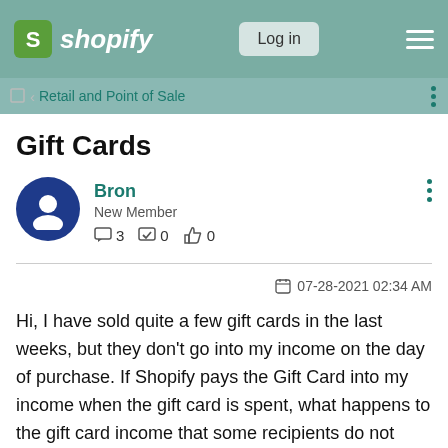Shopify — Log in
Retail and Point of Sale
Gift Cards
Bron
New Member
3  0  0
07-28-2021 02:34 AM
Hi, I have sold quite a few gift cards in the last weeks, but they don't go into my income on the day of purchase. If Shopify pays the Gift Card into my income when the gift card is spent, what happens to the gift card income that some recipients do not bother to spend?